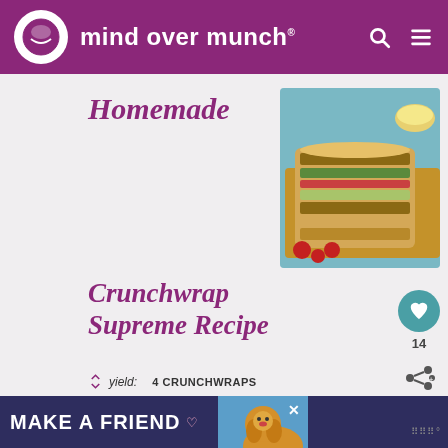mind over munch
Homemade
[Figure (photo): Photo of a homemade Crunchwrap Supreme cut in half showing layers of tortilla, meat, lettuce, tomato on a wooden board with cherry tomatoes]
Crunchwrap Supreme Recipe
yield: 4 CRUNCHWRAPS
prep time: 30 MINS   cook time: 10 MINS
total time: 40 MINS
A warm, crispy, copycat Taco Bell
MAKE A FRIEND